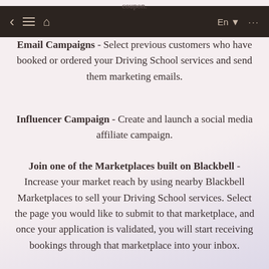coupon.
[Figure (screenshot): Mobile app navigation bar with back arrow, hamburger menu, home icon on left, and En dropdown and ellipsis menu on right, dark brown background]
Email Campaigns - Select previous customers who have booked or ordered your Driving School services and send them marketing emails.
Influencer Campaign - Create and launch a social media affiliate campaign.
Join one of the Marketplaces built on Blackbell - Increase your market reach by using nearby Blackbell Marketplaces to sell your Driving School services. Select the page you would like to submit to that marketplace, and once your application is validated, you will start receiving bookings through that marketplace into your inbox.